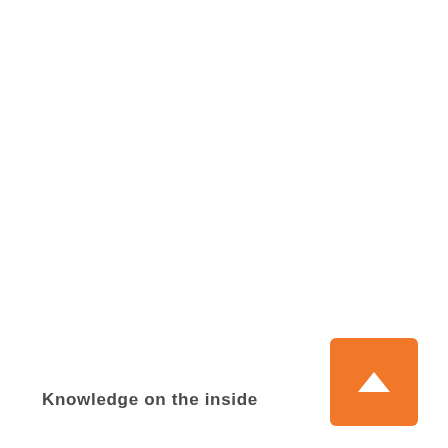Knowledge on the inside
[Figure (other): Orange square button with white upward-pointing arrow, positioned in bottom-right corner]